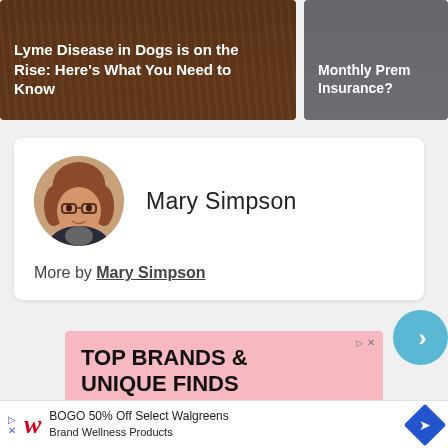[Figure (photo): Article card with dog fur background, text: 'Lyme Disease in Dogs is on the Rise: Here's What You Need to Know']
[Figure (photo): Article card with grey background, text: 'What Auto... Monthly Prem... Insurance?']
[Figure (photo): Author profile photo of Mary Simpson, a woman with glasses holding a cat, in circular crop]
Mary Simpson
More by Mary Simpson
[Figure (other): Next/chevron navigation button (blue circle with > arrow)]
[Figure (other): Advertisement banner: 'TOP BRANDS & UNIQUE FINDS' on pink background, with Walgreens BOGO 50% Off promotion bar at bottom]